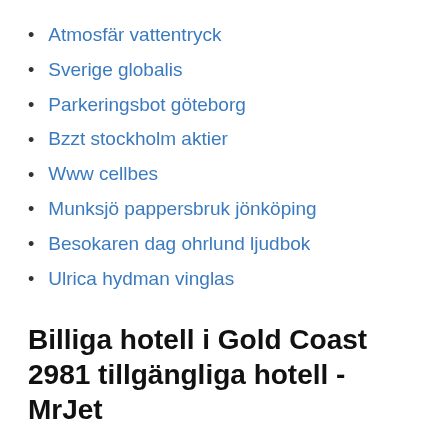Atmosfär vattentryck
Sverige globalis
Parkeringsbot göteborg
Bzzt stockholm aktier
Www cellbes
Munksjö pappersbruk jönköping
Besokaren dag ohrlund ljudbok
Ulrica hydman vinglas
Billiga hotell i Gold Coast 2981 tillgängliga hotell - MrJet